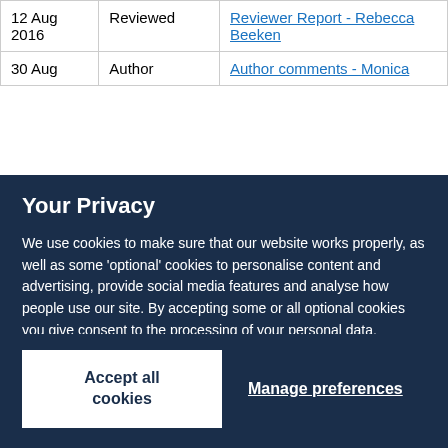| Date | Type | Document |
| --- | --- | --- |
| 12 Aug 2016 | Reviewed | Reviewer Report - Rebecca Beeken |
| 30 Aug | Author | Author comments - Monica |
Your Privacy
We use cookies to make sure that our website works properly, as well as some 'optional' cookies to personalise content and advertising, provide social media features and analyse how people use our site. By accepting some or all optional cookies you give consent to the processing of your personal data, including transfer to third parties, some in countries outside of the European Economic Area that do not offer the same data protection standards as the country where you live. You can decide which optional cookies to accept by clicking on 'Manage Settings', where you can also find more information about how your personal data is processed. Further information can be found in our privacy policy.
Accept all cookies
Manage preferences